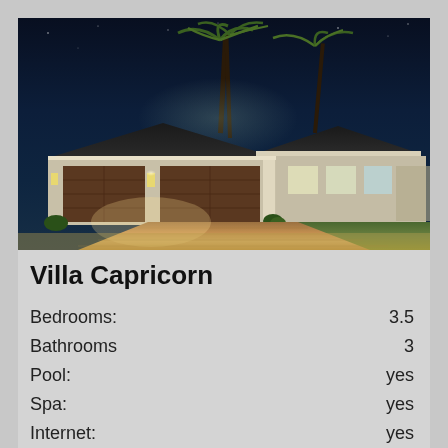[Figure (photo): Night photo of Villa Capricorn — a large single-story Florida home with two wide garage doors, illuminated by warm outdoor lighting, palm trees in the background, brick paver driveway in foreground, lawn on right side.]
Villa Capricorn
|  |  |
| --- | --- |
| Bedrooms: | 3.5 |
| Bathrooms | 3 |
| Pool: | yes |
| Spa: | yes |
| Internet: | yes |